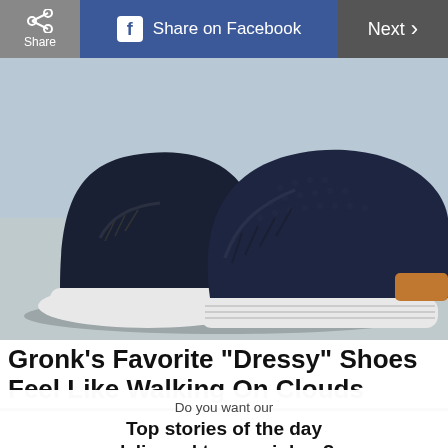Share | Share on Facebook | Next >
[Figure (photo): Close-up photo of dark navy blue knit sneakers with white sole and tan/brown heel accent, placed on a light gray textured surface]
Gronk's Favorite "Dressy" Shoes Feel Like Walking On Clouds
Do you want our
Top stories of the day delivered to your inbox?
YES PLEASE!
NO THANKS